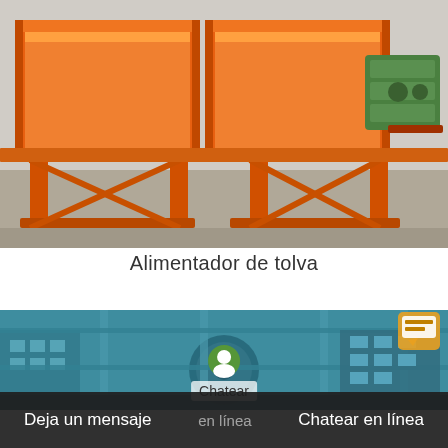[Figure (photo): Orange industrial hopper feeder (alimentador de tolva) machine with green motor/gearbox assembly, photographed outdoors on concrete ground. Heavy steel construction with multiple compartments and support legs.]
Alimentador de tolva
[Figure (photo): Industrial facility overview photo with teal/blue tint showing circular grinding mill equipment and factory buildings in background.]
Chatear
Deja un mensaje    en línea    Chatear en línea